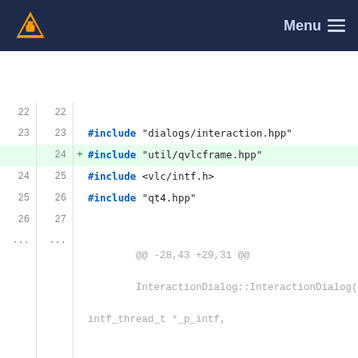[Figure (screenshot): VLC media player logo and navigation header with dark navy background, Menu text and hamburger icon on the right]
Code diff view showing changes to a C++ file. Lines show #include additions and removals of uiOkCancel and uiYesNoCancel with addition of QVBoxLayout.